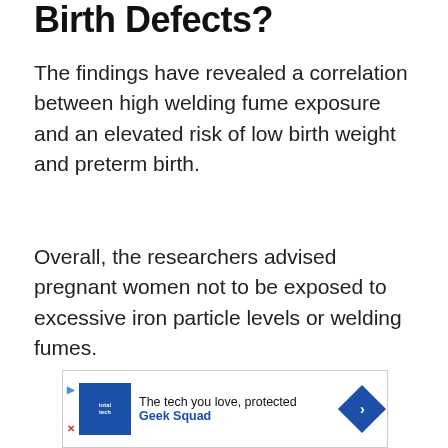Birth Defects?
The findings have revealed a correlation between high welding fume exposure and an elevated risk of low birth weight and preterm birth.
Overall, the researchers advised pregnant women not to be exposed to excessive iron particle levels or welding fumes.
[Figure (other): Advertisement banner for Geek Squad / Total Tech with blue logo, text 'The tech you love, protected' and 'Geek Squad', and a blue diamond arrow icon on the right.]